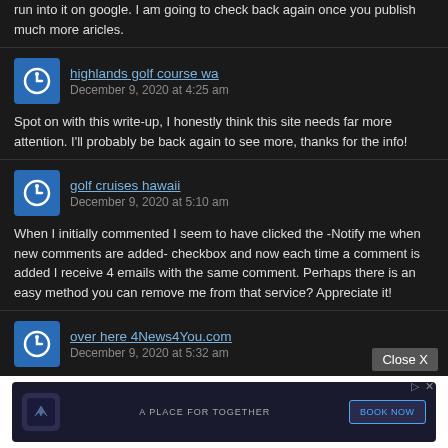run into it on google. I am going to check back again once you publish much more aricles.
highlands golf course wa
December 9, 2020 at 4:25 am

Spot on with this write-up, I honestly think this site needs far more attention. I'll probably be back again to see more, thanks for the info!
golf cruises hawaii
December 9, 2020 at 5:10 am

When I initially commented I seem to have clicked the -Notify me when new comments are added- checkbox and now each time a comment is added I receive 4 emails with the same comment. Perhaps there is an easy method you can remove me from that service? Appreciate it!
over here 4News4You.com
December 9, 2020 at 5:32 am

Unquesti... n seemed to be at the ... y get